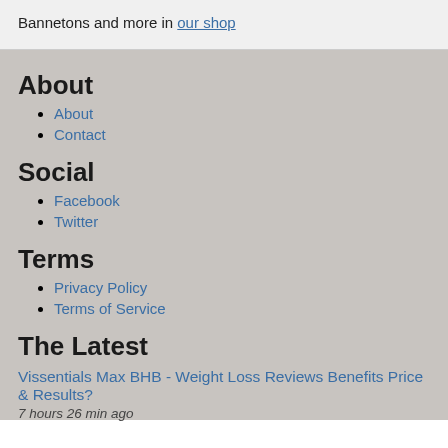Bannetons and more in our shop
About
About
Contact
Social
Facebook
Twitter
Terms
Privacy Policy
Terms of Service
The Latest
Vissentials Max BHB - Weight Loss Reviews Benefits Price & Results?
7 hours 26 min ago